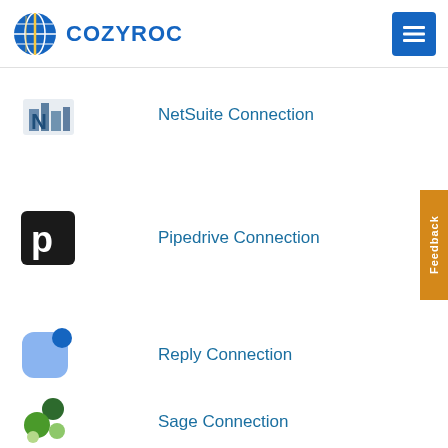COZYROC
NetSuite Connection
Pipedrive Connection
Reply Connection
Sage Connection